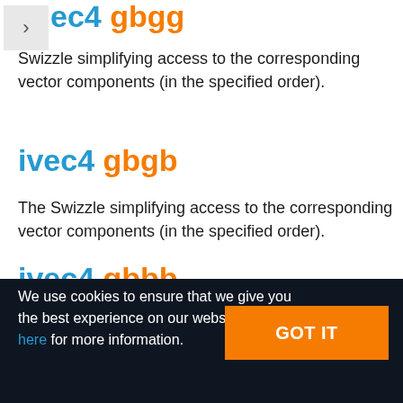ivec4 gbgg
The Swizzle simplifying access to the corresponding vector components (in the specified order).
ivec4 gbgb
The Swizzle simplifying access to the corresponding vector components (in the specified order).
ivec4 gbbb
We use cookies to ensure that we give you the best experience on our website. Click here for more information.